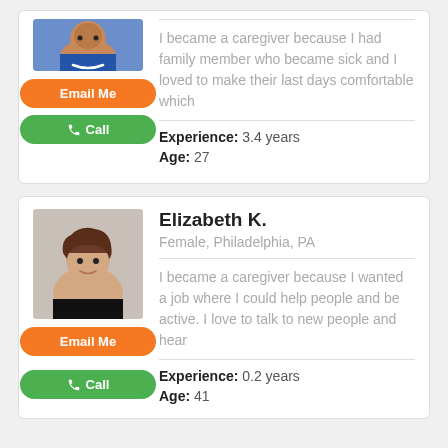[Figure (photo): Profile photo of first caregiver (cropped, top portion visible), smiling woman]
I became a caregiver because I had family member who became sick and I loved to make their last days comfortable which
Experience: 3.4 years
Age: 27
Elizabeth K.
Female, Philadelphia, PA
[Figure (photo): Profile photo of Elizabeth K., woman with brown hair, black top]
I became a caregiver because I wanted a job where I could help people and be active. I love to talk to new people and hear
Experience: 0.2 years
Age: 41